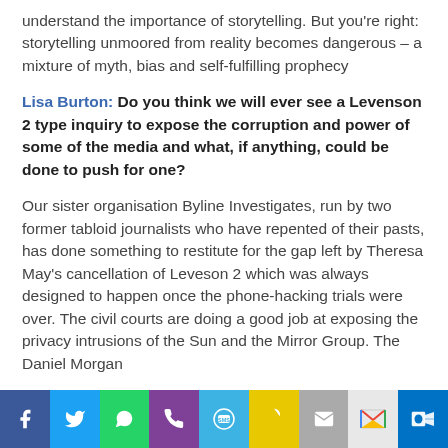understand the importance of storytelling. But you're right: storytelling unmoored from reality becomes dangerous – a mixture of myth, bias and self-fulfilling prophecy
Lisa Burton: Do you think we will ever see a Levenson 2 type inquiry to expose the corruption and power of some of the media and what, if anything, could be done to push for one?
Our sister organisation Byline Investigates, run by two former tabloid journalists who have repented of their pasts, has done something to restitute for the gap left by Theresa May's cancellation of Leveson 2 which was always designed to happen once the phone-hacking trials were over. The civil courts are doing a good job at exposing the privacy intrusions of the Sun and the Mirror Group. The Daniel Morgan
[Figure (infographic): Social media sharing bar with icons: Facebook, Twitter, WhatsApp, Phone, SMS, Snapchat, Email, Gmail, Outlook]